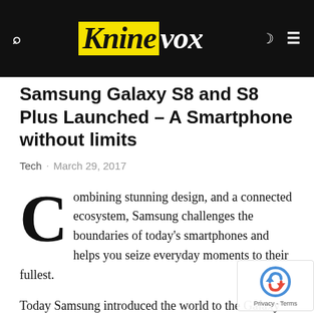Kninevox
Samsung Galaxy S8 and S8 Plus Launched – A Smartphone without limits
Tech · March 29, 2017
Combining stunning design, and a connected ecosystem, Samsung challenges the boundaries of today's smartphones and helps you seize everyday moments to their fullest.
Today Samsung introduced the world to the Galaxy S8+, a smartphone that pushes the boundaries of traditional smartphones with its seamless hardware